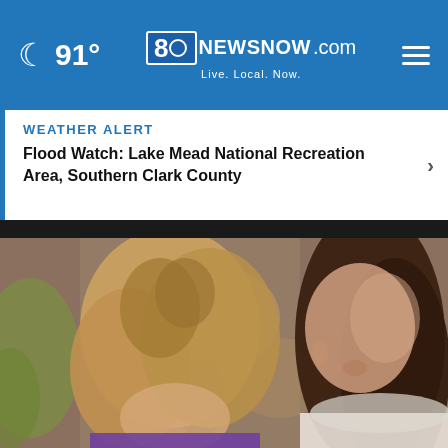91° 8oNEWSNOW.com Live. Local. Now.
WEATHER ALERT
Flood Watch: Lake Mead National Recreation Area, Southern Clark County
[Figure (photo): Close-up photo of a young girl with blonde hair looking down, and a teenage girl with long brown hair also looking down, both appearing to be engaged in an activity indoors with blurred colorful background]